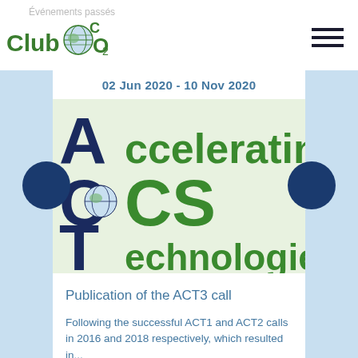Evénements passés
[Figure (logo): ClubCO2 logo with globe icon and CO2 subscript text, green coloring]
[Figure (illustration): ACT - Accelerating CCS Technologies logo image with large bold letters A, C, T in dark blue/navy on left and 'ccelerating', 'CS', 'echnologies' in green on right, on a light green background]
02 Jun 2020 - 10 Nov 2020
Publication of the ACT3 call
Following the successful ACT1 and ACT2 calls in 2016 and 2018 respectively, which resulted in...